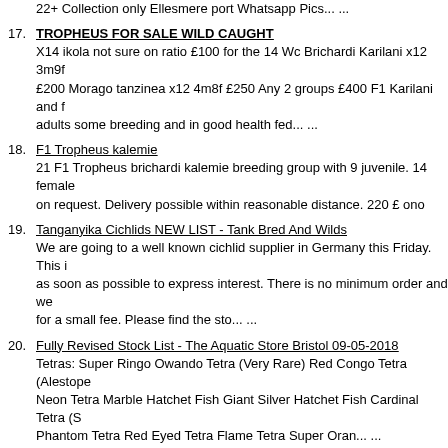22+ Collection only Ellesmere port Whatsapp Pics... ...
17. TROPHEUS FOR SALE WILD CAUGHT
X14 ikola not sure on ratio £100 for the 14 Wc Brichardi Karilani x12 3m9f £200 Morago tanzinea x12 4m8f £250 Any 2 groups £400 F1 Karilani and f adults some breeding and in good health fed... ...
18. F1 Tropheus kalemie
21 F1 Tropheus brichardi kalemie breeding group with 9 juvenile. 14 female on request. Delivery possible within reasonable distance. 220 £ ono
19. Tanganyika Cichlids NEW LIST - Tank Bred And Wilds
We are going to a well known cichlid supplier in Germany this Friday. This i as soon as possible to express interest. There is no minimum order and we for a small fee. Please find the sto... ...
20. Fully Revised Stock List - The Aquatic Store Bristol 09-05-2018
Tetras: Super Ringo Owando Tetra (Very Rare) Red Congo Tetra (Alestope Neon Tetra Marble Hatchet Fish Giant Silver Hatchet Fish Cardinal Tetra (S Phantom Tetra Red Eyed Tetra Flame Tetra Super Oran... ...
21. Cichlids
1Tropheus Brichardi £8, breeding pair Caraleus plus 1 fry £15, 3 red zebra £3 each.
22. rena 5 foot full set up
Selling this 5 foot rena as a complete set. Please see photos. It has around Plecos. Synodontis. Aquaray led. 2080 eheim. Coral sand and rocks. If inte ono. Serious buyers only. May break it up but woul... ...
23. TROPHEUS BRICHARDI ULWILE